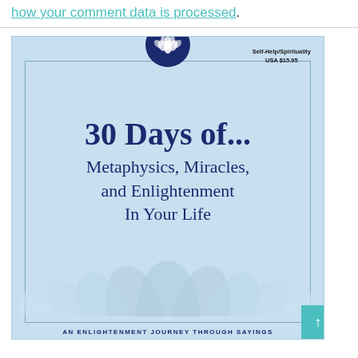how your comment data is processed.
[Figure (illustration): Book cover for '30 Days of... Metaphysics, Miracles, and Enlightenment In Your Life' — a light blue cover with a dark navy lotus icon in a circle at the top center, category label 'Self-Help/Spirituality USA $15.95' in upper right, large serif title text, stylized lotus flowers at the bottom, and 'AN ENLIGHTENMENT JOURNEY THROUGH SAYINGS' text at the bottom.]